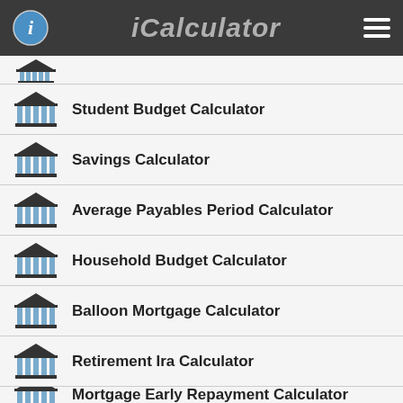iCalculator
Student Budget Calculator
Savings Calculator
Average Payables Period Calculator
Household Budget Calculator
Balloon Mortgage Calculator
Retirement Ira Calculator
Mortgage Early Repayment Calculator